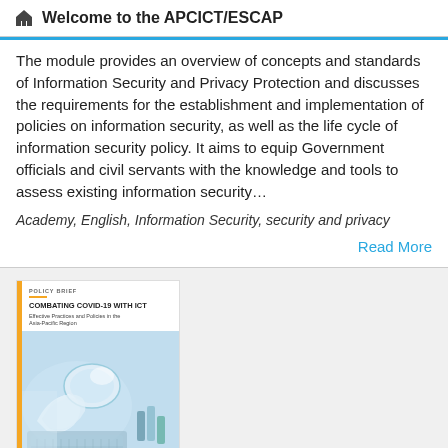Welcome to the APCICT/ESCAP
The module provides an overview of concepts and standards of Information Security and Privacy Protection and discusses the requirements for the establishment and implementation of policies on information security, as well as the life cycle of information security policy. It aims to equip Government officials and civil servants with the knowledge and tools to assess existing information security…
Academy, English, Information Security, security and privacy
Read More
[Figure (photo): Book cover of ESCAP/APCICT Policy Brief titled 'Combating COVID-19 with ICT: Effective Practices and Policies in the Asia-Pacific Region', showing a person in lab coat working with medical equipment and a laptop]